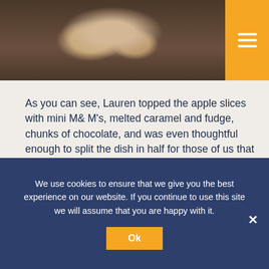[Figure (photo): Photo of apple slices topped with mini M&Ms, melted caramel and fudge, chunks of chocolate on a plate, with menu button overlay]
As you can see, Lauren topped the apple slices with mini M& M's, melted caramel and fudge, chunks of chocolate, and was even thoughtful enough to split the dish in half for those of us that love or dislike mint chips! She hopes to try out for The Food Network show Chopped Jr., so this was a great practice run. The clinicians and all of us here at the clinic love to help make their friends' dreams become a reality every day (and sneaking in a little speech therapy along the way ☺ )
We use cookies to ensure that we give you the best experience on our website. If you continue to use this site we will assume that you are happy with it.